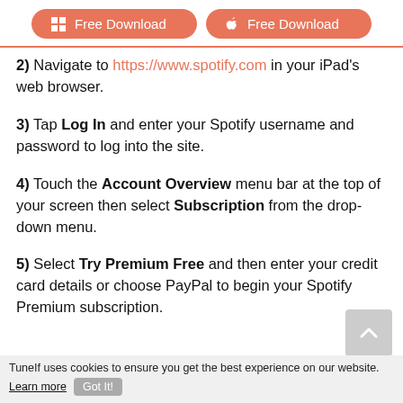[Figure (other): Two orange rounded buttons labeled 'Free Download' with Windows and Apple icons]
2) Navigate to https://www.spotify.com in your iPad's web browser.
3) Tap Log In and enter your Spotify username and password to log into the site.
4) Touch the Account Overview menu bar at the top of your screen then select Subscription from the drop-down menu.
5) Select Try Premium Free and then enter your credit card details or choose PayPal to begin your Spotify Premium subscription.
TuneIf uses cookies to ensure you get the best experience on our website. Learn more  Got It!